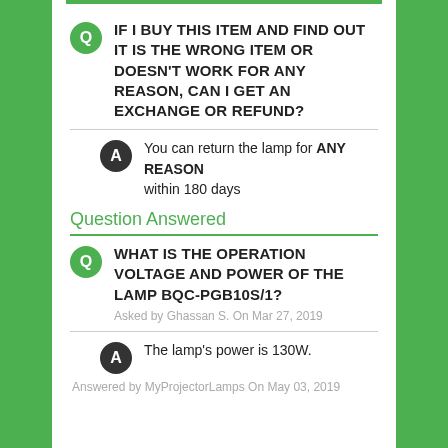IF I BUY THIS ITEM AND FIND OUT IT IS THE WRONG ITEM OR DOESN'T WORK FOR ANY REASON, CAN I GET AN EXCHANGE OR REFUND?
You can return the lamp for ANY REASON within 180 days
Question Answered
WHAT IS THE OPERATION VOLTAGE AND POWER OF THE LAMP BQC-PGB10S/1?
Asked by Ghassan S. On Mar 27, 2019
The lamp's power is 130W.
Answered by MyProjectorLamps On May 03, 2019